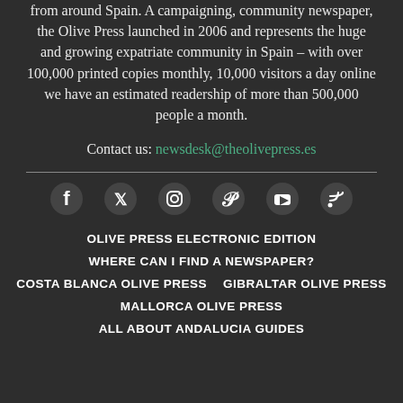from around Spain. A campaigning, community newspaper, the Olive Press launched in 2006 and represents the huge and growing expatriate community in Spain – with over 100,000 printed copies monthly, 10,000 visitors a day online we have an estimated readership of more than 500,000 people a month.
Contact us: newsdesk@theolivepress.es
[Figure (other): Social media icons row: Facebook, Twitter, Instagram, Pinterest, YouTube, RSS]
OLIVE PRESS ELECTRONIC EDITION
WHERE CAN I FIND A NEWSPAPER?
COSTA BLANCA OLIVE PRESS
GIBRALTAR OLIVE PRESS
MALLORCA OLIVE PRESS
ALL ABOUT ANDALUCIA GUIDES